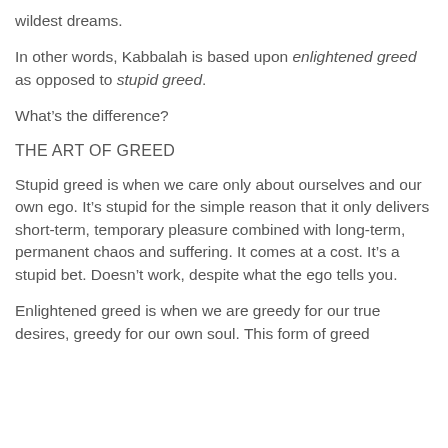wildest dreams.
In other words, Kabbalah is based upon enlightened greed as opposed to stupid greed.
What’s the difference?
THE ART OF GREED
Stupid greed is when we care only about ourselves and our own ego. It’s stupid for the simple reason that it only delivers short-term, temporary pleasure combined with long-term, permanent chaos and suffering. It comes at a cost. It’s a stupid bet. Doesn’t work, despite what the ego tells you.
Enlightened greed is when we are greedy for our true desires, greedy for our own soul. This form of greed